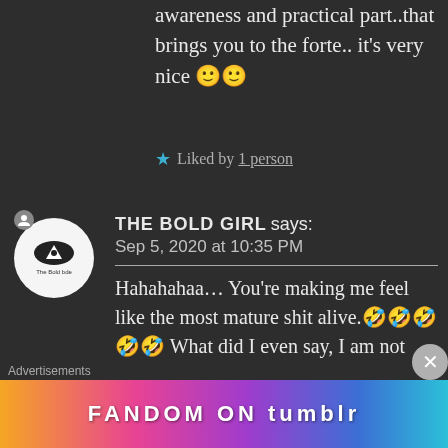awareness and practical part..that brings you to the forte.. it’s very nice 🙂🙂
★ Liked by 1 person
THE BOLD GIRL says:
Sep 5, 2020 at 10:35 PM
Hahahahaa… You’re making me feel like the most mature shit alive.🤣🤣🤣🤣🤣 What did I even say, I am not aware.😅😅
Advertisements
[Figure (other): Fandom on Tumblr advertisement banner with colorful gradient background]